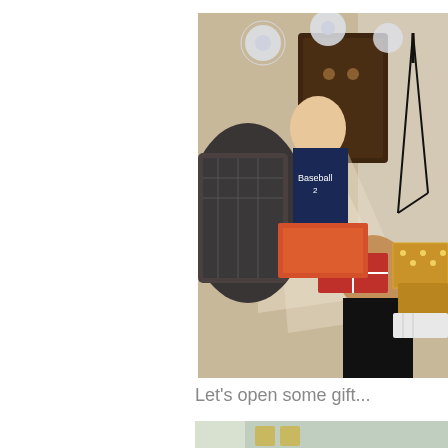[Figure (photo): Two children opening Christmas gifts on the floor. One child in a baseball jersey and another in a dark sweater, surrounded by gold and red wrapped presents. White snowflake decorations hang in the background near a dark wooden cabinet. A camera tripod is visible on the right side.]
Let's open some gift...
[Figure (photo): Partial view of another Christmas scene, partially visible at the bottom of the page.]